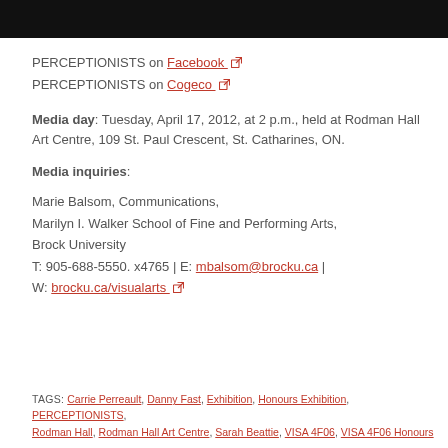[Figure (photo): Black header bar at top of page]
PERCEPTIONISTS on Facebook [external link]
PERCEPTIONISTS on Cogeco [external link]
Media day: Tuesday, April 17, 2012, at 2 p.m., held at Rodman Hall Art Centre, 109 St. Paul Crescent, St. Catharines, ON.
Media inquiries:
Marie Balsom, Communications, Marilyn I. Walker School of Fine and Performing Arts, Brock University T: 905-688-5550. x4765 | E: mbalsom@brocku.ca | W: brocku.ca/visualarts
TAGS: Carrie Perreault, Danny Fast, Exhibition, Honours Exhibition, PERCEPTIONISTS, Rodman Hall, Rodman Hall Art Centre, Sarah Beattie, VISA 4F06, VISA 4F06 Honours